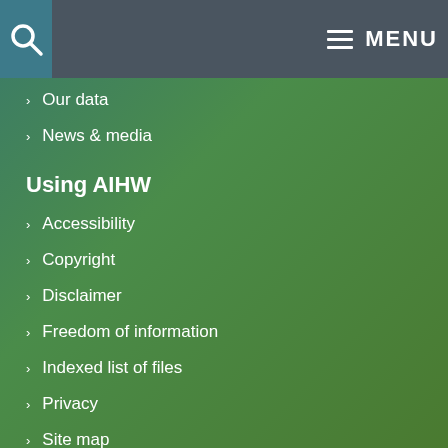MENU
Our data
News & media
Using AIHW
Accessibility
Copyright
Disclaimer
Freedom of information
Indexed list of files
Privacy
Site map
Quick links
Home
Careers
AIHW Ethics Committee